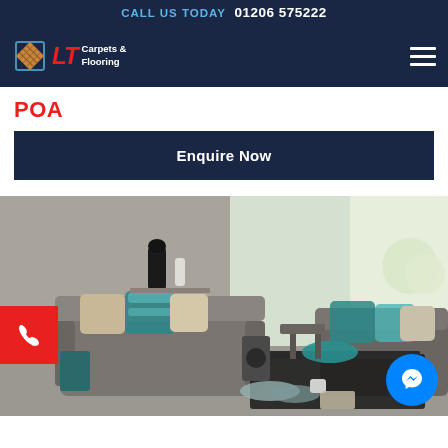CALL US TODAY  01206 575222
[Figure (logo): LT Carpets & Flooring logo with diamond wood-pattern icon and red LT letters]
POA
Enquire Now
[Figure (photo): Living room interior with grey carpet, two sofas with teal/turquoise cushions, a coffee table, and white hydrangea flowers by a window]